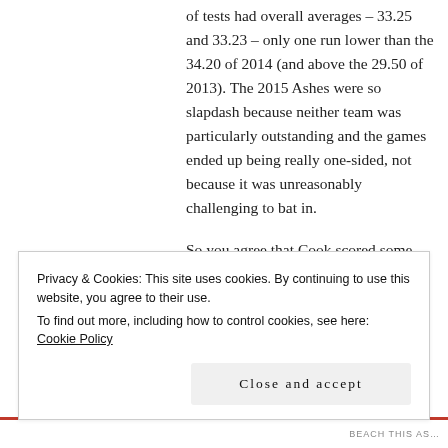of tests had overall averages – 33.25 and 33.23 – only one run lower than the 34.20 of 2014 (and above the 29.50 of 2013). The 2015 Ashes were so slapdash because neither team was particularly outstanding and the games ended up being really one-sided, not because it was unreasonably challenging to bat in.
So you agree that Cook scored some runs at home when the pitches
Privacy & Cookies: This site uses cookies. By continuing to use this website, you agree to their use.
To find out more, including how to control cookies, see here: Cookie Policy